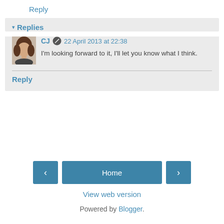Reply
▾ Replies
CJ  22 April 2013 at 22:38
I'm looking forward to it, I'll let you know what I think.
Reply
Home
View web version
Powered by Blogger.